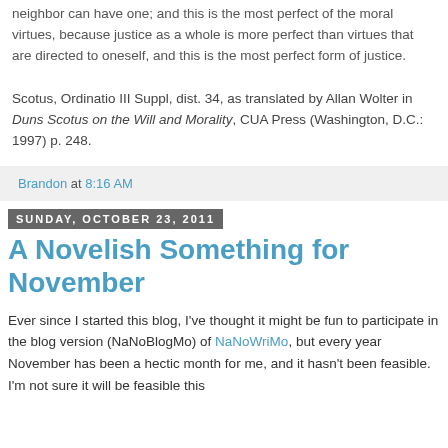neighbor can have one; and this is the most perfect of the moral virtues, because justice as a whole is more perfect than virtues that are directed to oneself, and this is the most perfect form of justice.
Scotus, Ordinatio III Suppl, dist. 34, as translated by Allan Wolter in Duns Scotus on the Will and Morality, CUA Press (Washington, D.C.: 1997) p. 248.
Brandon at 8:16 AM
Sunday, October 23, 2011
A Novelish Something for November
Ever since I started this blog, I've thought it might be fun to participate in the blog version (NaNoBlogMo) of NaNoWriMo, but every year November has been a hectic month for me, and it hasn't been feasible. I'm not sure it will be feasible this